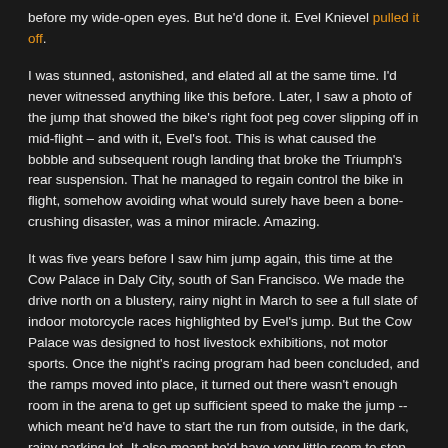before my wide-open eyes. But he'd done it. Evel Knievel pulled it off.
I was stunned, astonished, and elated all at the same time. I'd never witnessed anything like this before. Later, I saw a photo of the jump that showed the bike's right foot peg cover slipping off in mid-flight – and with it, Evel's foot. This is what caused the bobble and subsequent rough landing that broke the Triumph's rear suspension. That he managed to regain control the bike in flight, somehow avoiding what would surely have been a bone-crushing disaster, was a minor miracle. Amazing.
It was five years before I saw him jump again, this time at the Cow Palace in Daly City, south of San Francisco. We made the drive north on a blustery, rainy night in March to see a full slate of indoor motorcycle races highlighted by Evel's jump. But the Cow Palace was designed to host livestock exhibitions, not motor sports. Once the night's racing program had been concluded, and the ramps moved into place, it turned out there wasn't enough room in the arena to get up sufficient speed to make the jump -- which meant he'd have to start the run from outside, in the dark, rainy parking lot. It also meant he'd have very little room to stop the bike once he hit the landing ramp.
Imagine what that would be like: sitting atop a high-powered